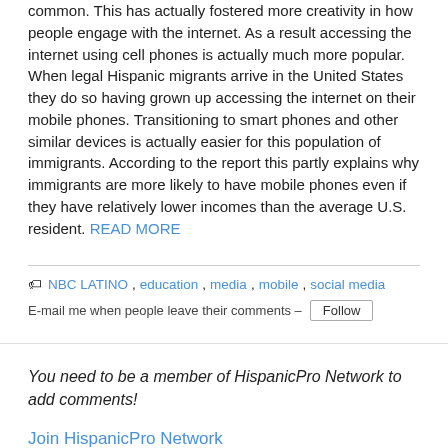common. This has actually fostered more creativity in how people engage with the internet. As a result accessing the internet using cell phones is actually much more popular. When legal Hispanic migrants arrive in the United States they do so having grown up accessing the internet on their mobile phones. Transitioning to smart phones and other similar devices is actually easier for this population of immigrants. According to the report this partly explains why immigrants are more likely to have mobile phones even if they have relatively lower incomes than the average U.S. resident. READ MORE
NBC LATINO, education, media, mobile, social media
E-mail me when people leave their comments – Follow
You need to be a member of HispanicPro Network to add comments!
Join HispanicPro Network